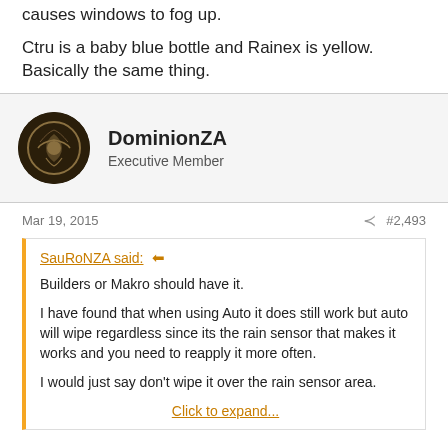causes windows to fog up.
Ctru is a baby blue bottle and Rainex is yellow. Basically the same thing.
DominionZA
Executive Member
Mar 19, 2015  #2,493
SauRoNZA said:
Builders or Makro should have it.

I have found that when using Auto it does still work but auto will wipe regardless since its the rain sensor that makes it works and you need to reapply it more often.

I would just say don't wipe it over the rain sensor area.

Click to expand...
Awesome. Thanks!